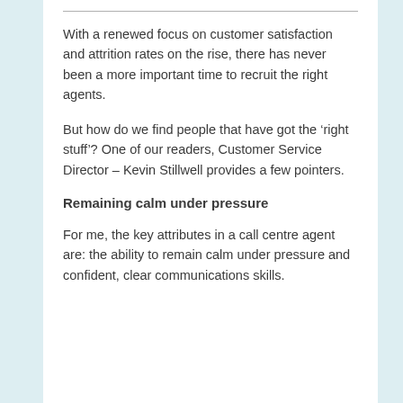With a renewed focus on customer satisfaction and attrition rates on the rise, there has never been a more important time to recruit the right agents.
But how do we find people that have got the 'right stuff'? One of our readers, Customer Service Director – Kevin Stillwell provides a few pointers.
Remaining calm under pressure
For me, the key attributes in a call centre agent are: the ability to remain calm under pressure and confident, clear communications skills.